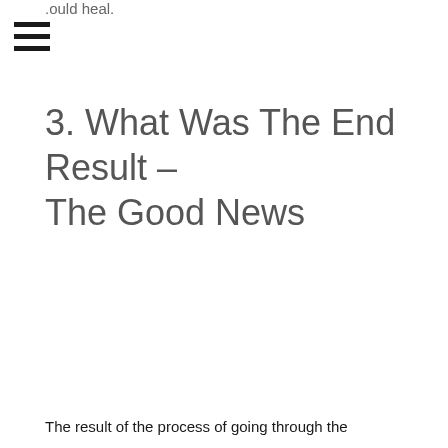.ould heal.
3. What Was The End Result – The Good News
The result of the process of going through the